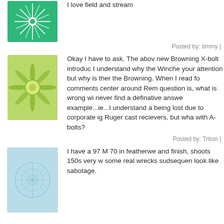[Figure (illustration): Green radial/snowflake avatar icon with white pattern on green background]
I love field and stream
Posted by: timmy |
[Figure (illustration): Light green starburst/flower avatar icon on pale green background]
Okay I have to ask. The above new Browning X-bolt introduced I understand why the Winchester your attention but why is there the Browning. When I read for comments center around Rem question is, what is wrong with never find a definative answer example...ie...I understand about being lost due to corporate ig Ruger cast recievers, but what with A-bolts?
Posted by: Triton |
[Figure (illustration): Light blue web/net pattern avatar icon on pale blue background]
I have a 97 M 70 in featherwe and finish, shoots 150s very w some real wrecks sudsequen look like sabotage.